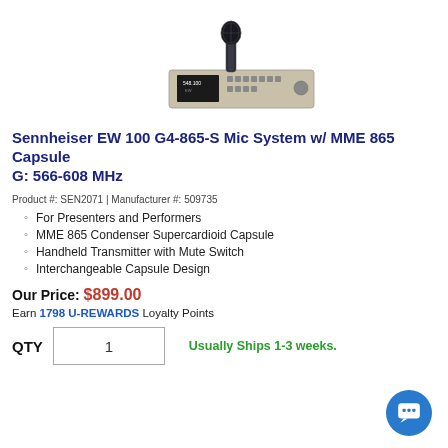[Figure (photo): Product photo of Sennheiser EW 100 G4-865-S microphone system showing a handheld microphone and a rack-mount receiver unit]
Sennheiser EW 100 G4-865-S Mic System w/ MME 865 Capsule G: 566-608 MHz
Product #: SEN2071 | Manufacturer #: 509735
For Presenters and Performers
MME 865 Condenser Supercardioid Capsule
Handheld Transmitter with Mute Switch
Interchangeable Capsule Design
Our Price: $899.00
Earn 1798 U-REWARDS Loyalty Points
QTY  1   Usually Ships 1-3 weeks.